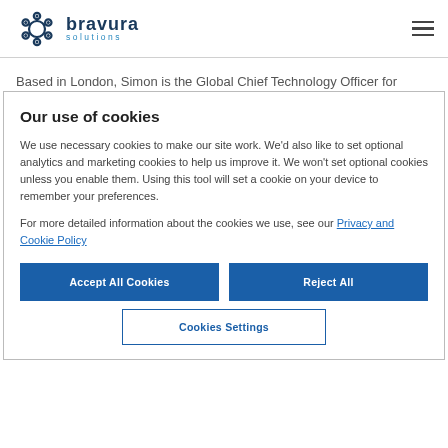bravura solutions
Based in London, Simon is the Global Chief Technology Officer for
Our use of cookies
We use necessary cookies to make our site work. We'd also like to set optional analytics and marketing cookies to help us improve it. We won't set optional cookies unless you enable them. Using this tool will set a cookie on your device to remember your preferences.
For more detailed information about the cookies we use, see our Privacy and Cookie Policy
Accept All Cookies
Reject All
Cookies Settings